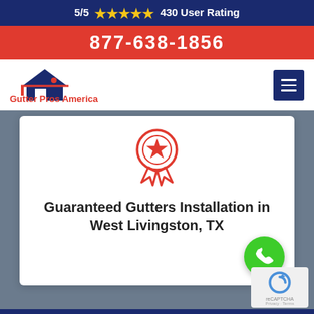5/5 ★★★★★ 430 User Rating
877-638-1856
[Figure (logo): Gutter Pros America logo with house icon and red text]
[Figure (illustration): Red award/ribbon icon with star]
Guaranteed Gutters Installation in West Livingston, TX
[Figure (illustration): Green phone call button circle icon]
[Figure (illustration): reCAPTCHA badge]